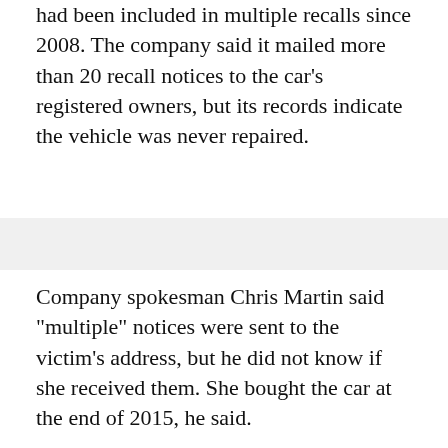had been included in multiple recalls since 2008. The company said it mailed more than 20 recall notices to the car's registered owners, but its records indicate the vehicle was never repaired.
Company spokesman Chris Martin said "multiple" notices were sent to the victim's address, but he did not know if she received them. She bought the car at the end of 2015, he said.
In June, NHTSA urged owners of 313,000 older Hondas and Acuras to stop driving them and get them repaired, after new tests found that their Takata inflators are extremely dangerous. The agency said it had data showing that chances are as